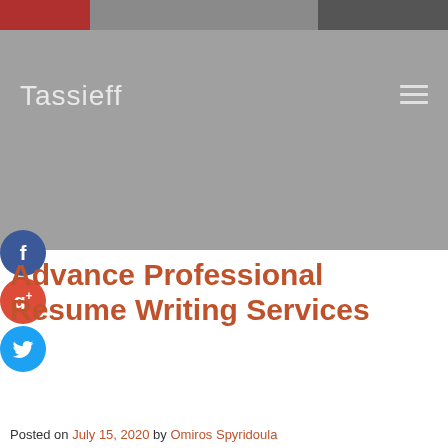[Figure (screenshot): Website header with photo strip at top showing partial image]
Tassieff
[Figure (infographic): Social media icons: Facebook (blue circle), Google+ (red circle), Twitter (blue circle)]
Advance Professional Resume Writing Services
Posted on July 15, 2020 by Omiros Spyridoula